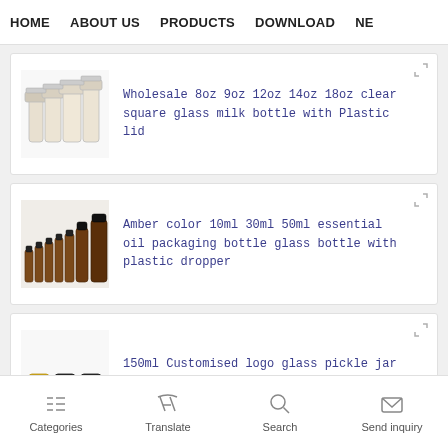HOME   ABOUT US   PRODUCTS   DOWNLOAD   NE
[Figure (photo): Clear glass milk bottles of various sizes (8oz, 9oz, 12oz, 14oz, 18oz) with plastic lids, white background]
Wholesale 8oz 9oz 12oz 14oz 18oz clear square glass milk bottle with Plastic lid
[Figure (photo): Amber color essential oil glass bottles (10ml, 30ml, 50ml) with plastic dropper caps, various sizes arranged in a row]
Amber color 10ml 30ml 50ml essential oil packaging bottle glass bottle with plastic dropper
[Figure (photo): 150ml customised logo glass pickle jars with plastic lids, owl-face design, three jars shown]
150ml Customised logo glass pickle jar with plastic lid
Categories   Translate   Search   Send inquiry